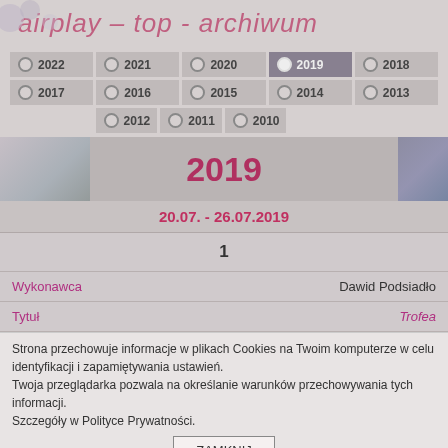airplay – top - archiwum
2022 2021 2020 2019 2018 2017 2016 2015 2014 2013 2012 2011 2010
[Figure (screenshot): Year selector grid with radio buttons for years 2010-2022, 2019 selected (highlighted in grey)]
2019
20.07. - 26.07.2019
1
| Wykonawca | Dawid Podsiadło |
| --- | --- |
| Tytuł | Trofea |
Strona przechowuje informacje w plikach Cookies na Twoim komputerze w celu identyfikacji i zapamiętywania ustawień.
Twoja przeglądarka pozwala na określanie warunków przechowywania tych informacji.
Szczegóły w Polityce Prywatności.
ZAMKNIJ